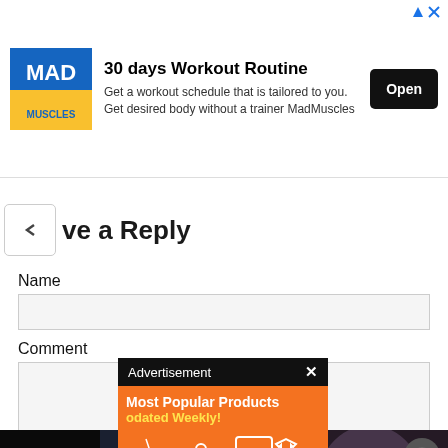[Figure (screenshot): Ad banner: MadMuscles app ad with logo, '30 days Workout Routine' title, description text, and Open button]
ave a Reply
Name
Comment
[Figure (screenshot): Overlay ad popup with 'Advertisement' header and 'Most Popular Products Updated Weekly!' orange panel with product icons]
[Figure (screenshot): Bottom video player panel showing anime/game characters (Sephiroth and female character) with PLAYS badge and play button, dark background with close button]